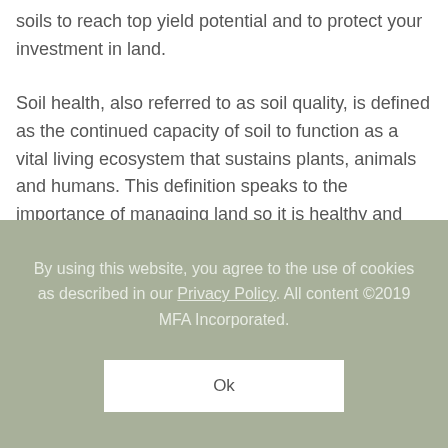soils to reach top yield potential and to protect your investment in land.
Soil health, also referred to as soil quality, is defined as the continued capacity of soil to function as a vital living ecosystem that sustains plants, animals and humans. This definition speaks to the importance of managing land so it is healthy and sustainable for
By using this website, you agree to the use of cookies as described in our Privacy Policy. All content ©2019 MFA Incorporated.
Ok